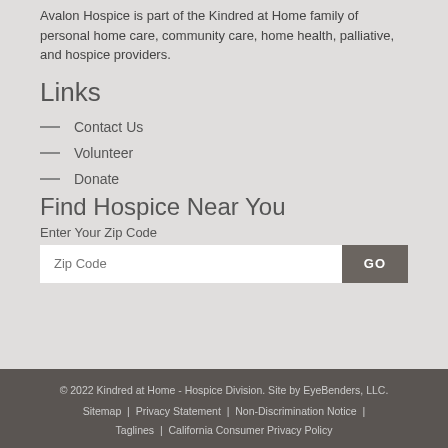Avalon Hospice is part of the Kindred at Home family of personal home care, community care, home health, palliative, and hospice providers.
Links
Contact Us
Volunteer
Donate
Find Hospice Near You
Enter Your Zip Code
© 2022 Kindred at Home - Hospice Division. Site by EyeBenders, LLC. Sitemap | Privacy Statement | Non-Discrimination Notice | Taglines | California Consumer Privacy Policy